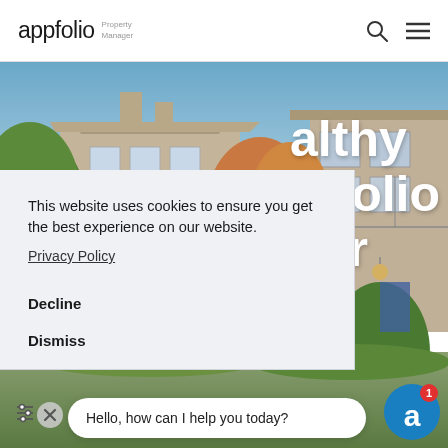appfolio Property Manager
[Figure (photo): Aerial/exterior photo of apartment building complex with trees, showing beige/tan multi-story residential buildings with balconies and green trees in foreground, blue sky background. Partially obscured by cookie consent overlay.]
althy oFolio ger
This website uses cookies to ensure you get the best experience on our website.
Privacy Policy
Decline
Dismiss
Hello, how can I help you today?